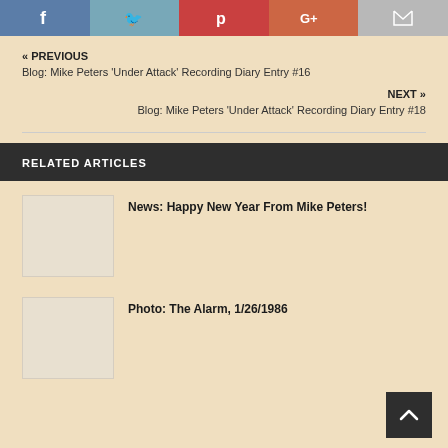[Figure (other): Social sharing buttons: Facebook, Twitter, Pinterest, Google+, Email]
« PREVIOUS
Blog: Mike Peters 'Under Attack' Recording Diary Entry #16
NEXT »
Blog: Mike Peters 'Under Attack' Recording Diary Entry #18
RELATED ARTICLES
News: Happy New Year From Mike Peters!
Photo: The Alarm, 1/26/1986